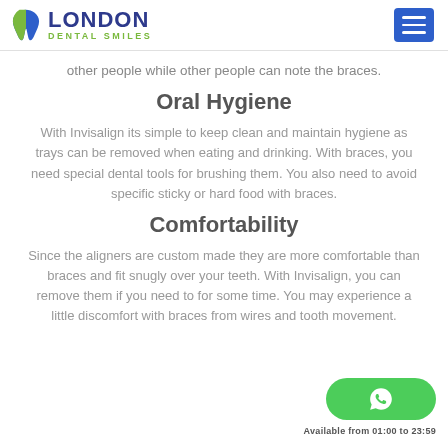London Dental Smiles
other people while other people can note the braces.
Oral Hygiene
With Invisalign its simple to keep clean and maintain hygiene as trays can be removed when eating and drinking. With braces, you need special dental tools for brushing them. You also need to avoid specific sticky or hard food with braces.
Comfortability
Since the aligners are custom made they are more comfortable than braces and fit snugly over your teeth. With Invisalign, you can remove them if you need to for some time. You may experience a little discomfort with braces from wires and tooth movement.
Available from 01:00 to 23:59